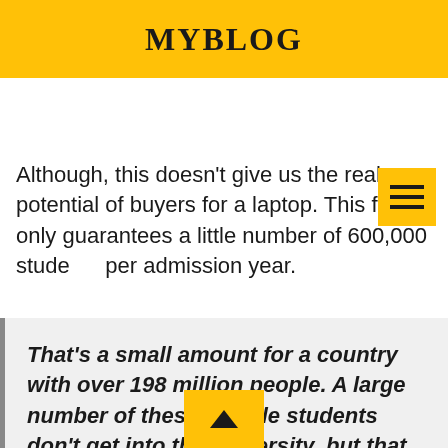MYBLOG
Although, this doesn't give us the real potential of buyers for a laptop. This figure only guarantees a little number of 600,000 students per admission year.
That's a small amount for a country with over 198 million people. A large number of these eligible students don't get into the university, but that doesn't mean they don't fall into the market share for your laptop business.